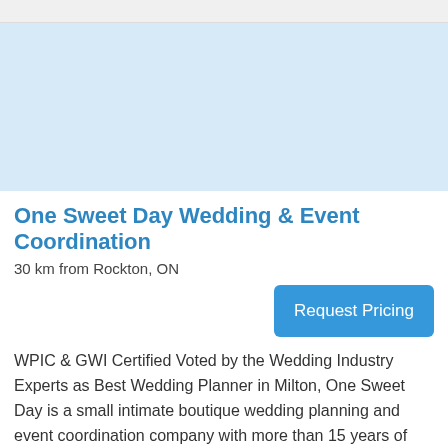[Figure (other): Light blue placeholder image area representing a venue or event photo]
One Sweet Day Wedding & Event Coordination
30 km from Rockton, ON
Request Pricing
WPIC & GWI Certified Voted by the Wedding Industry Experts as Best Wedding Planner in Milton, One Sweet Day is a small intimate boutique wedding planning and event coordination company with more than 15 years of events experience. We